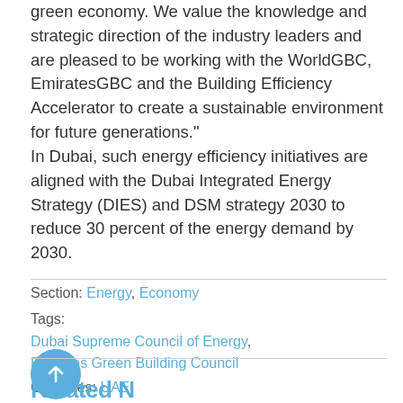green economy. We value the knowledge and strategic direction of the industry leaders and are pleased to be working with the WorldGBC, EmiratesGBC and the Building Efficiency Accelerator to create a sustainable environment for future generations." In Dubai, such energy efficiency initiatives are aligned with the Dubai Integrated Energy Strategy (DIES) and DSM strategy 2030 to reduce 30 percent of the energy demand by 2030.
Section: Energy, Economy
Tags: Dubai Supreme Council of Energy, Emirates Green Building Council
Countries: UAE
Related N...